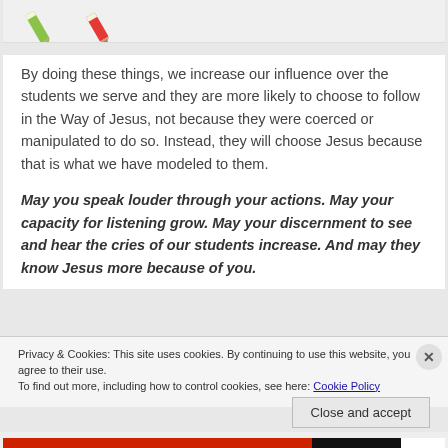[Figure (illustration): Partial view of two crossed pencils — one green and one red — on a light background.]
By doing these things, we increase our influence over the students we serve and they are more likely to choose to follow in the Way of Jesus, not because they were coerced or manipulated to do so. Instead, they will choose Jesus because that is what we have modeled to them.
May you speak louder through your actions. May your capacity for listening grow. May your discernment to see and hear the cries of our students increase. And may they know Jesus more because of you.
Privacy & Cookies: This site uses cookies. By continuing to use this website, you agree to their use.
To find out more, including how to control cookies, see here: Cookie Policy
Close and accept